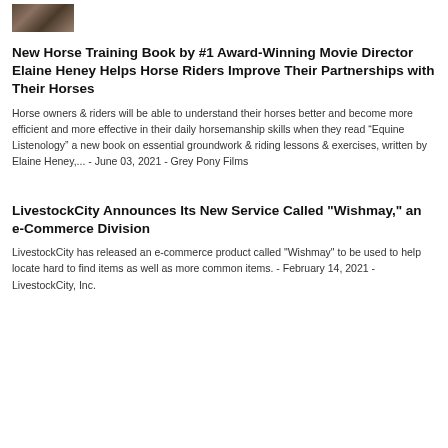[Figure (photo): Small photo of horses/people at top left]
New Horse Training Book by #1 Award-Winning Movie Director Elaine Heney Helps Horse Riders Improve Their Partnerships with Their Horses
Horse owners & riders will be able to understand their horses better and become more efficient and more effective in their daily horsemanship skills when they read “Equine Listenology” a new book on essential groundwork & riding lessons & exercises, written by Elaine Heney,... - June 03, 2021 - Grey Pony Films
LivestockCity Announces Its New Service Called "Wishmay," an e-Commerce Division
LivestockCity has released an e-commerce product called "Wishmay" to be used to help locate hard to find items as well as more common items. - February 14, 2021 - LivestockCity, Inc.